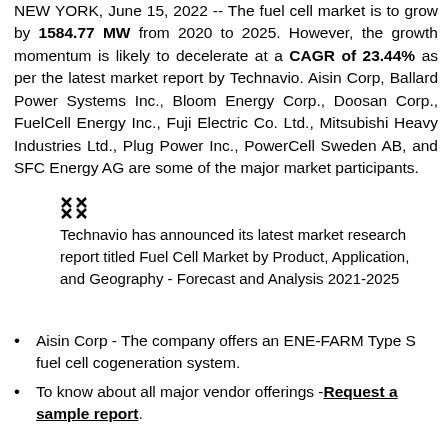NEW YORK, June 15, 2022 -- The fuel cell market is to grow by 1584.77 MW from 2020 to 2025. However, the growth momentum is likely to decelerate at a CAGR of 23.44% as per the latest market report by Technavio. Aisin Corp, Ballard Power Systems Inc., Bloom Energy Corp., Doosan Corp., FuelCell Energy Inc., Fuji Electric Co. Ltd., Mitsubishi Heavy Industries Ltd., Plug Power Inc., PowerCell Sweden AB, and SFC Energy AG are some of the major market participants.
[Figure (other): Technavio expand/resize icon followed by text: Technavio has announced its latest market research report titled Fuel Cell Market by Product, Application, and Geography - Forecast and Analysis 2021-2025]
Aisin Corp - The company offers an ENE-FARM Type S fuel cell cogeneration system.
To know about all major vendor offerings - Request a sample report.